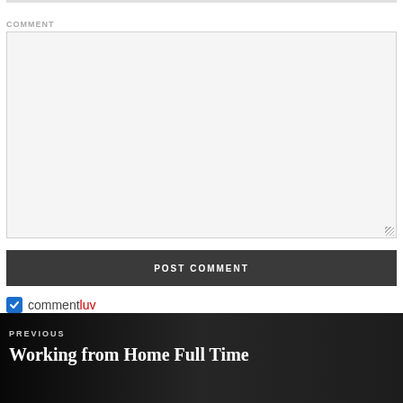COMMENT
[Figure (other): Empty comment textarea input box with light gray background and resize handle]
POST COMMENT
commentluv (checkbox checked)
PREVIOUS
Working from Home Full Time